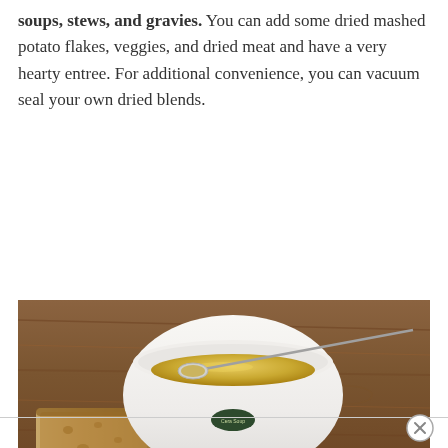soups, stews, and gravies. You can add some dried mashed potato flakes, veggies, and dried meat and have a very hearty entree. For additional convenience, you can vacuum seal your own dried blends.
[Figure (photo): A white ceramic bowl of yellow/golden soup with a spoon resting across it, placed on a white napkin on a wooden table. A piece of bread sits beside the bowl on the left.]